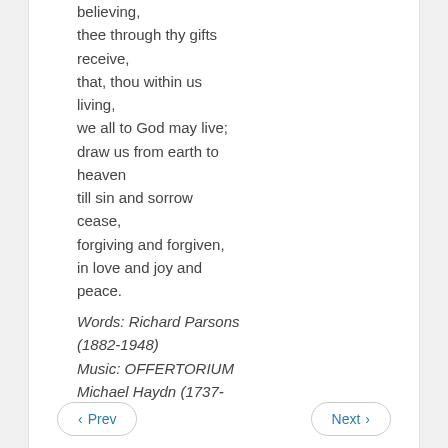believing,
thee through thy gifts receive,
that, thou within us living,
we all to God may live;
draw us from earth to heaven
till sin and sorrow cease,
forgiving and forgiven,
in love and joy and peace.
Words: Richard Parsons (1882-1948)
Music: OFFERTORIUM Michael Haydn (1737-1806)
‹ Prev    Next ›